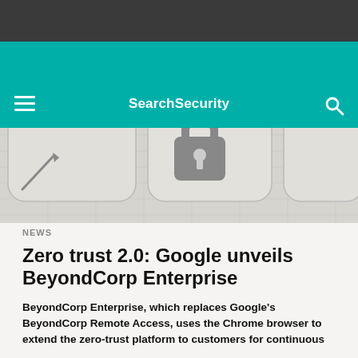SearchSecurity
[Figure (photo): Hero image showing a padlock icon on a keyboard or data background, grayscale/muted tones. Photo credit: RVLSOFT - FOTOLIA]
RVLSOFT - FOTOLIA
NEWS
Zero trust 2.0: Google unveils BeyondCorp Enterprise
BeyondCorp Enterprise, which replaces Google's BeyondCorp Remote Access, uses the Chrome browser to extend the zero-trust platform to customers for continuous